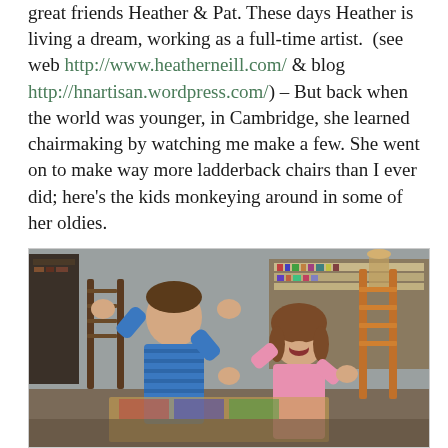great friends Heather & Pat. These days Heather is living a dream, working as a full-time artist.  (see web http://www.heatherneill.com/ & blog http://hnartisan.wordpress.com/) – But back when the world was younger, in Cambridge, she learned chairmaking by watching me make a few. She went on to make way more ladderback chairs than I ever did; here's the kids monkeying around in some of her oldies.
[Figure (photo): Two young children playing and laughing in a home living room with bookshelves, surrounded by ladderback chairs. The boy on the left wears a blue striped shirt and the girl on the right wears pink. Both have their hands raised playfully.]